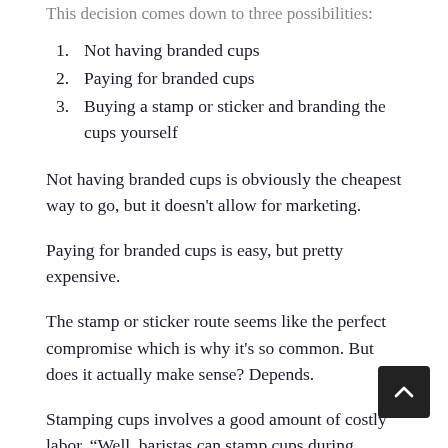This decision comes down to three possibilities:
1. Not having branded cups
2. Paying for branded cups
3. Buying a stamp or sticker and branding the cups yourself
Not having branded cups is obviously the cheapest way to go, but it doesn't allow for marketing.
Paying for branded cups is easy, but pretty expensive.
The stamp or sticker route seems like the perfect compromise which is why it's so common. But does it actually make sense? Depends.
Stamping cups involves a good amount of costly labor. “Well, baristas can stamp cups during downtime,” you might say.
Sure, but stamping isn’t trivial labor. It’s a highly repetitive motion that mirrors the repetitive labor baristas are already